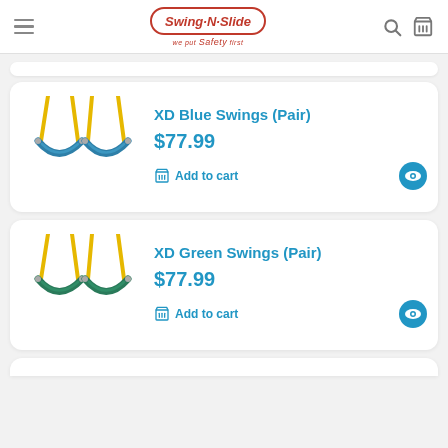Swing-N-Slide — we put Safety first
[Figure (screenshot): Product listing card for XD Blue Swings (Pair) showing two blue swing seats with yellow chains]
XD Blue Swings (Pair)
$77.99
Add to cart
[Figure (screenshot): Product listing card for XD Green Swings (Pair) showing two green swing seats with yellow chains]
XD Green Swings (Pair)
$77.99
Add to cart